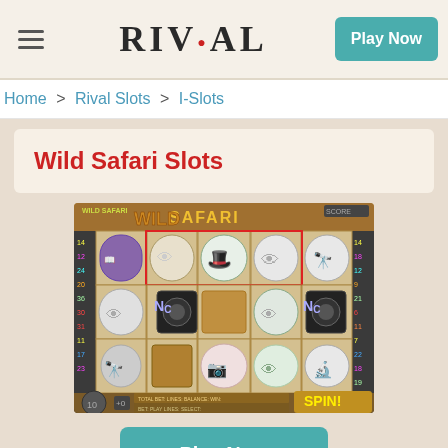RIVAL | Play Now
Home > Rival Slots > I-Slots
Wild Safari Slots
[Figure (screenshot): Wild Safari Slots game screenshot showing a 5-reel slot machine with safari-themed symbols including binoculars, books, cameras, and a SPIN button. The game title 'WILD SAFARI' appears at the top.]
Play Now